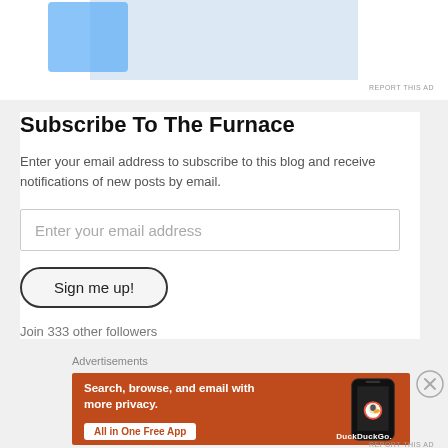[Figure (screenshot): Top of advertisement banner area, light blue background, partially visible]
REPORT THIS AD
Subscribe To The Furnace
Enter your email address to subscribe to this blog and receive notifications of new posts by email.
Enter your email address
Sign me up!
Join 333 other followers
Advertisements
[Figure (screenshot): DuckDuckGo advertisement banner with orange background showing phone and text: Search, browse, and email with more privacy. All in One Free App. DuckDuckGo.]
REPORT THIS AD